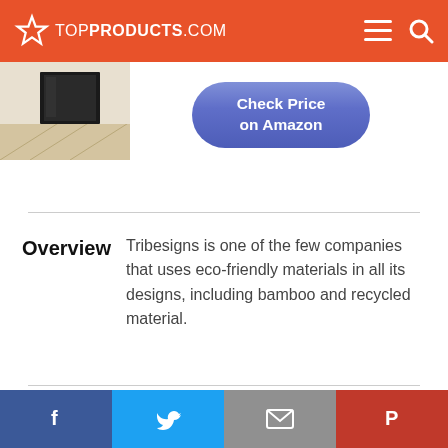TOP PRODUCTS .COM
[Figure (photo): Product photo of a piece of furniture (door/shelf unit) on a wooden floor background]
[Figure (other): Blue rounded button with text 'Check Price on Amazon']
Overview
Tribesigns is one of the few companies that uses eco-friendly materials in all its designs, including bamboo and recycled material.
Facebook | Twitter | Email | Pinterest share buttons